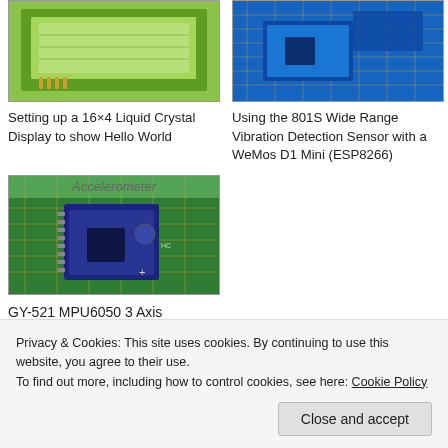[Figure (photo): Green LCD display module (16x4 liquid crystal display) on a grid mat]
[Figure (photo): Blue WeMos D1 Mini ESP8266 board with 801S vibration detection sensor on cutting mat]
Setting up a 16×4 Liquid Crystal Display to show Hello World
Using the 801S Wide Range Vibration Detection Sensor with a WeMos D1 Mini (ESP8266)
[Figure (photo): GY-521 MPU6050 3 Axis Accelerometer Gyroscope module on green cutting mat, with 'Accelerometer' text overlay at top]
GY-521 MPU6050 3 Axis Accelerometer Gyroscope
Privacy & Cookies: This site uses cookies. By continuing to use this website, you agree to their use.
To find out more, including how to control cookies, see here: Cookie Policy
Close and accept